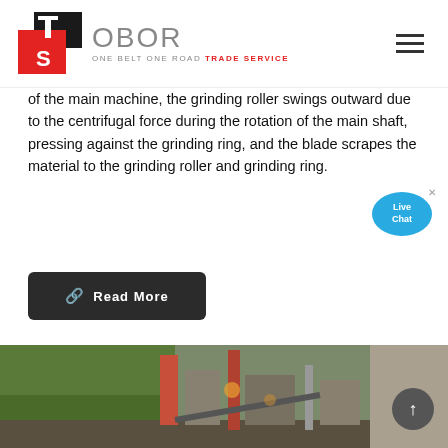[Figure (logo): OBOR Trade Service logo with TS emblem in red/black and OBOR text in gray]
of the main machine, the grinding roller swings outward due to the centrifugal force during the rotation of the main shaft, pressing against the grinding ring, and the blade scrapes the material to the grinding roller and grinding ring.
Read More
[Figure (photo): Industrial mining/crushing equipment site with machinery and green trees in background]